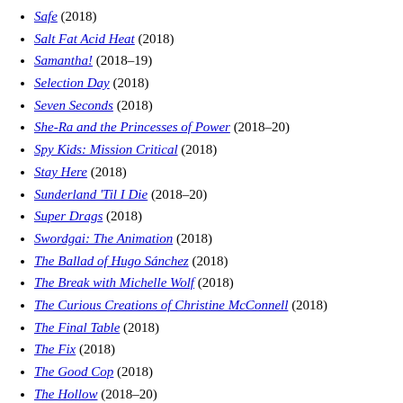Safe (2018)
Salt Fat Acid Heat (2018)
Samantha! (2018–19)
Selection Day (2018)
Seven Seconds (2018)
She-Ra and the Princesses of Power (2018–20)
Spy Kids: Mission Critical (2018)
Stay Here (2018)
Sunderland 'Til I Die (2018–20)
Super Drags (2018)
Swordgai: The Animation (2018)
The Ballad of Hugo Sánchez (2018)
The Break with Michelle Wolf (2018)
The Curious Creations of Christine McConnell (2018)
The Final Table (2018)
The Fix (2018)
The Good Cop (2018)
The Hollow (2018–20)
The House of Flowers (2018–20)
The Haunting of Hill House (2018)
The Innocent Man (2018)
The Innocents (2018)
The Joel McHale Show with Joel McHale (2018)
The Mechanism (2018–19)